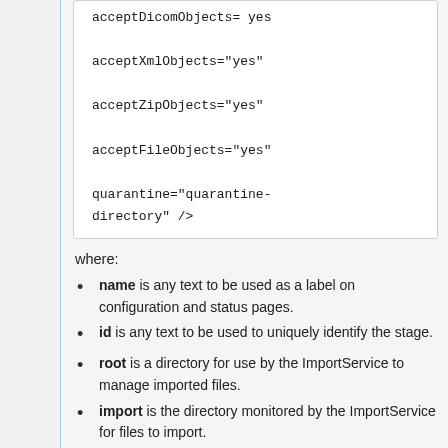acceptDicomObjects="yes"
acceptXmlObjects="yes"
acceptZipObjects="yes"
acceptFileObjects="yes"
quarantine="quarantine-directory" />
where:
name is any text to be used as a label on configuration and status pages.
id is any text to be used to uniquely identify the stage.
root is a directory for use by the ImportService to manage imported files.
import is the directory monitored by the ImportService for files to import.